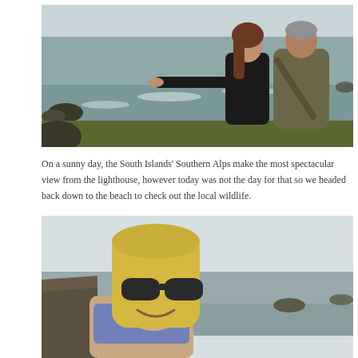[Figure (photo): Two people standing at a coastal clifftop overlook. One person (with brown hair, wearing a black jacket) is pointing out toward the sea. The other person (wearing a khaki/olive jacket) is facing away. Rocky coastline and grey ocean in the background.]
On a sunny day, the South Islands' Southern Alps make the most spectacular view from the lighthouse, however today was not the day for that so we headed back down to the beach to check out the local wildlife.
[Figure (photo): A blonde woman wearing large dark sunglasses smiles at the camera. She is standing in front of a rocky coastal scene with grey ocean and overcast sky in the background.]